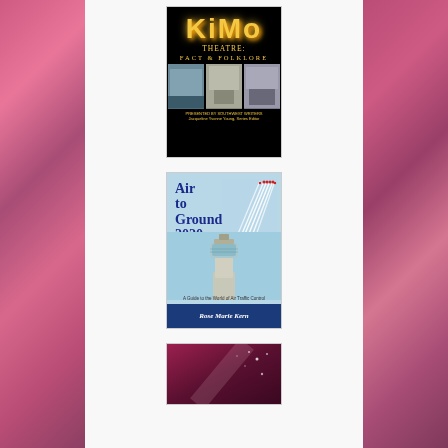[Figure (photo): Book cover: KiMo Theatre: Fact & Folklore, presented by Southwest Writers, black background with gold lettering and photos of the theatre]
[Figure (photo): Book cover: Air to Ground 2020, light blue background with air traffic control tower and jets, author Rose Marie Kern]
[Figure (photo): Book cover: partial view, dark burgundy/maroon background with sparkle/star effects]